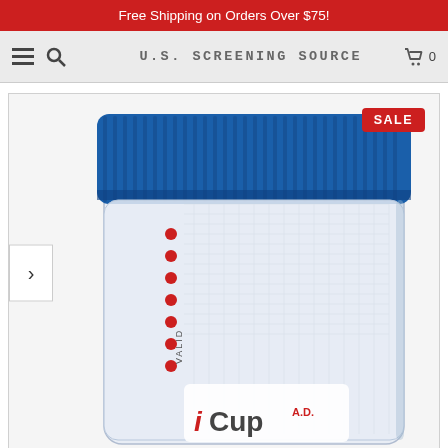Free Shipping on Orders Over $75!
U.S. Screening Source
[Figure (photo): Close-up photo of an iCup A.D. urine drug test cup with a blue screw-on lid, showing red dot indicators and the iCup A.D. logo on the cup body. A red SALE badge is displayed in the top-right corner of the image.]